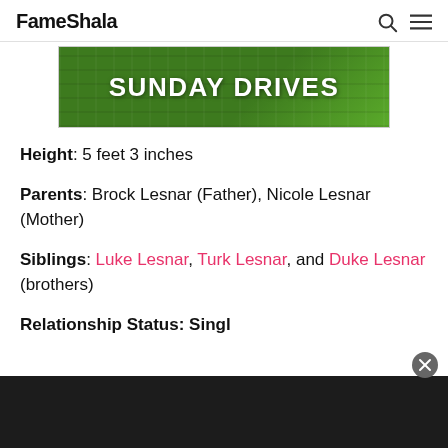FameShala
[Figure (photo): Advertisement banner with green grass background showing text SUNDAY DRIVES in bold white letters]
Height: 5 feet 3 inches
Parents: Brock Lesnar (Father), Nicole Lesnar (Mother)
Siblings: Luke Lesnar, Turk Lesnar, and Duke Lesnar (brothers)
Relationship Status: Single